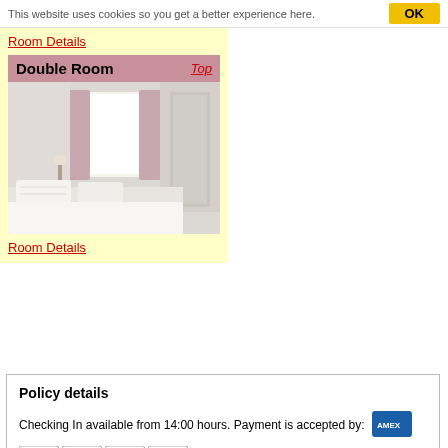This website uses cookies so you get a better experience here.
Room Details
Double Room
[Figure (photo): Photo of a double bedroom with white bedding, pillows, lamp, window with pink/mauve curtains and pale walls]
Room Details
Policy details
Checking In available from 14:00 hours. Payment is accepted by:
[Figure (other): Payment card icons: MasterCard, Visa, Maestro, JCB, American Express]
Cancellation Policy
Top